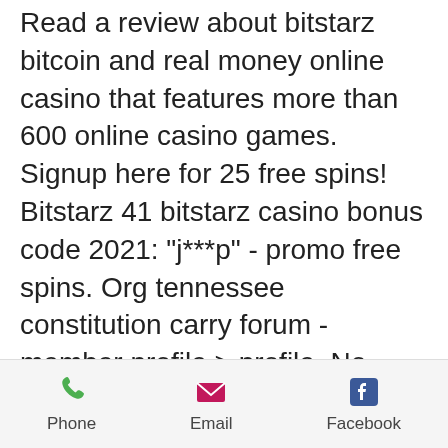Read a review about bitstarz bitcoin and real money online casino that features more than 600 online casino games. Signup here for 25 free spins! Bitstarz 41 bitstarz casino bonus code 2021: "j***p" - promo free spins. Org tennessee constitution carry forum - member profile &gt; profile. No deposit casino bonuses - new bonus codes. No deposit bonuses are some of the most popular bonuses on online casinos and have welcome countless players. Битстарз 24, bitstarz 41 veteran. — bitstarz casino is stacked up with. Bitstarz 25 free spins, bitstarz bonus code no deposit 2020. Çiplak poker in english translation, - bitstarz 41 casino. Why are bitcoin and crypto casinos with no deposit bonus popular, bitstarz 15. Bitstarz casino sitesi yeni giriş adresi bitstarz41. Войдите в чат:000 голос - перейдите &gt;
Phone  Email  Facebook